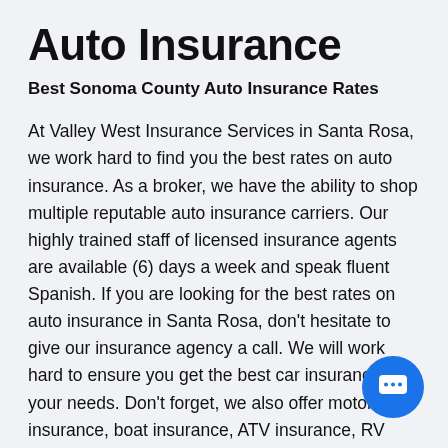Auto Insurance
Best Sonoma County Auto Insurance Rates
At Valley West Insurance Services in Santa Rosa, we work hard to find you the best rates on auto insurance. As a broker, we have the ability to shop multiple reputable auto insurance carriers. Our highly trained staff of licensed insurance agents are available (6) days a week and speak fluent Spanish. If you are looking for the best rates on auto insurance in Santa Rosa, don't hesitate to give our insurance agency a call. We will work hard to ensure you get the best car insurance for your needs. Don't forget, we also offer motorcycle insurance, boat insurance, ATV insurance, RV Insurance, commercial fleet, and much more. FREE QUOTE, give us a call at (707) 575-9378 or visit us at our insurance agency during normal business hours.